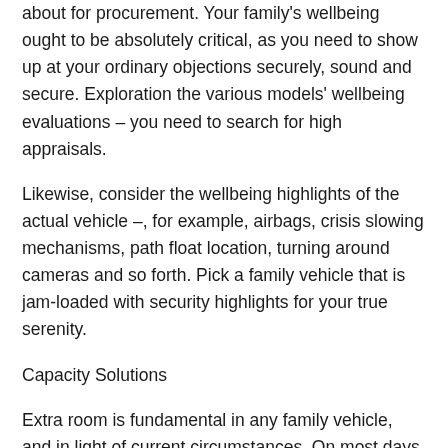about for procurement. Your family's wellbeing ought to be absolutely critical, as you need to show up at your ordinary objections securely, sound and secure. Exploration the various models' wellbeing evaluations – you need to search for high appraisals.
Likewise, consider the wellbeing highlights of the actual vehicle –, for example, airbags, crisis slowing mechanisms, path float location, turning around cameras and so forth. Pick a family vehicle that is jam-loaded with security highlights for your true serenity.
Capacity Solutions
Extra room is fundamental in any family vehicle, and in light of current circumstances. On most days you're doing the school drop-offs and pick-ups, getting things done, getting a few food and 1,000 other little outings. You'll need a